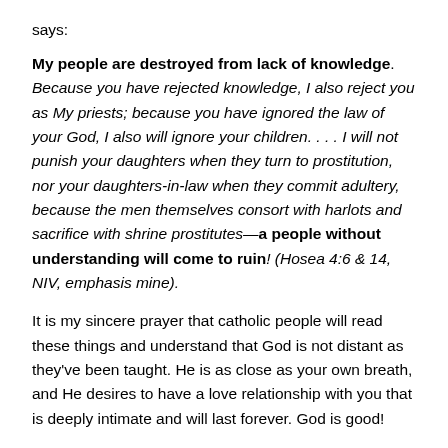says:
My people are destroyed from lack of knowledge. Because you have rejected knowledge, I also reject you as My priests; because you have ignored the law of your God, I also will ignore your children. . . . I will not punish your daughters when they turn to prostitution, nor your daughters-in-law when they commit adultery, because the men themselves consort with harlots and sacrifice with shrine prostitutes—a people without understanding will come to ruin! (Hosea 4:6 & 14, NIV, emphasis mine).
It is my sincere prayer that catholic people will read these things and understand that God is not distant as they've been taught. He is as close as your own breath, and He desires to have a love relationship with you that is deeply intimate and will last forever. God is good!